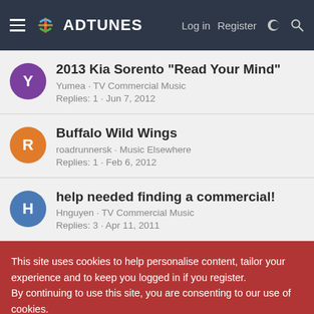ADTUNES  Log in  Register
2013 Kia Sorento "Read Your Mind"
Yumea · TV Commercial Music
Replies: 1 · Jun 7, 2012
Buffalo Wild Wings
roadrunnersk · Music Elsewhere
Replies: 1 · Feb 6, 2012
help needed finding a commercial!
Hnguyen · TV Commercial Music
Replies: 3 · Apr 11, 2011
This site uses cookies to help personalise content, tailor your experience and to keep you logged in if you register.
By continuing to use this site, you are consenting to our use of cookies.
Accept  Learn more...